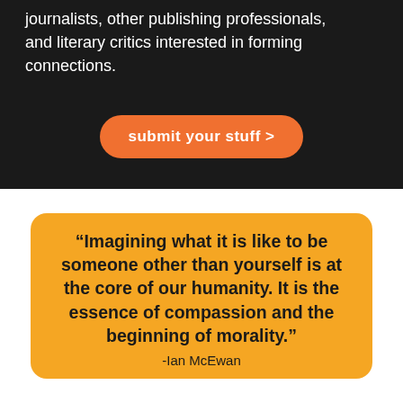journalists, other publishing professionals, and literary critics interested in forming connections.
submit your stuff >
“Imagining what it is like to be someone other than yourself is at the core of our humanity. It is the essence of compassion and the beginning of morality.”
-Ian McEwan